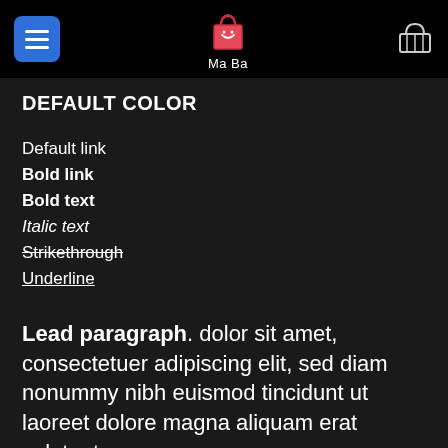Ma Ba
DEFAULT COLOR
Default link
Bold link
Bold text
Italic text
Strikethrough
Underline
Lead paragraph. dolor sit amet, consectetuer adipiscing elit, sed diam nonummy nibh euismod tincidunt ut laoreet dolore magna aliquam erat volutpat.